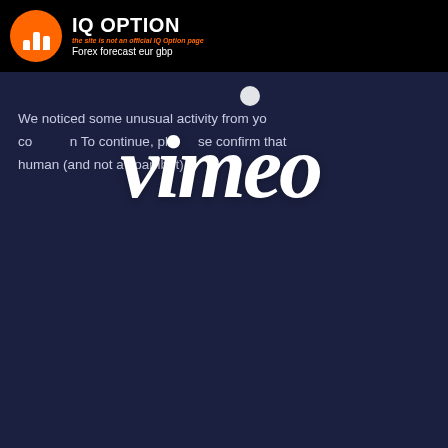IQ OPTION — the site is not an official IQ Option page — Forex forecast eur gbp
[Figure (screenshot): Vimeo watermark overlay on dark blue video player background with partial error text visible: 'We noticed some unusual activity from your connection. To continue, please confirm that you are a human (and not a spambot).']
Binary OPTION
Now you'll see our cutting edge platform for the world's fastest trading, giving you an opportunity to